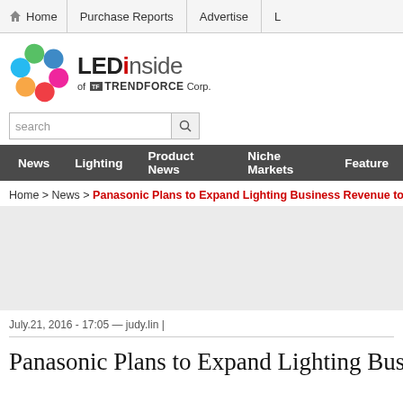Home | Purchase Reports | Advertise
[Figure (logo): LEDinside of TrendForce Corp. logo with colorful flower/circle icon]
[Figure (other): Search bar with magnifying glass icon]
News | Lighting | Product News | Niche Markets | Features
Home > News > Panasonic Plans to Expand Lighting Business Revenue to U...
[Figure (other): Advertisement area (gray placeholder)]
July.21, 2016 - 17:05 — judy.lin |
Panasonic Plans to Expand Lighting Busi...